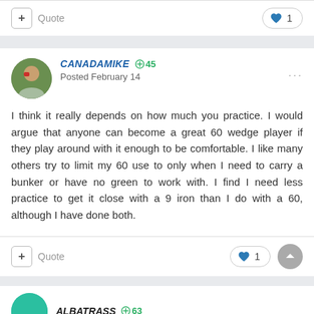+ Quote | ♥ 1
CANADAMIKE +45 Posted February 14
I think it really depends on how much you practice. I would argue that anyone can become a great 60 wedge player if they play around with it enough to be comfortable. I like many others try to limit my 60 use to only when I need to carry a bunker or have no green to work with. I find I need less practice to get it close with a 9 iron than I do with a 60, although I have done both.
+ Quote | ♥ 1
ALBATRASS +63